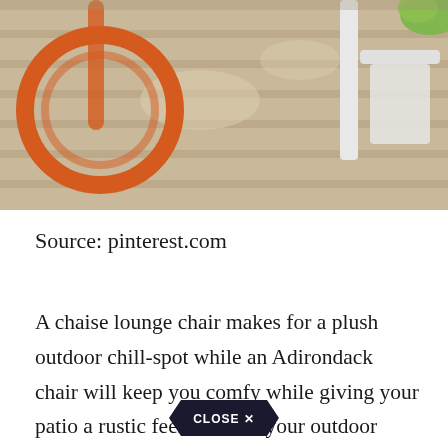[Figure (photo): Photo of outdoor deck/patio with orange circular chair frame and white chair on wooden plank decking, viewed from above]
Source: pinterest.com
A chaise lounge chair makes for a plush outdoor chill-spot while an Adirondack chair will keep you comfy while giving your patio a rustic feel. Furnish your outdoor dining space with durable outdoor chairs built to withstand both intense weather conditions and ro[CLOSE X]e. Naturally the